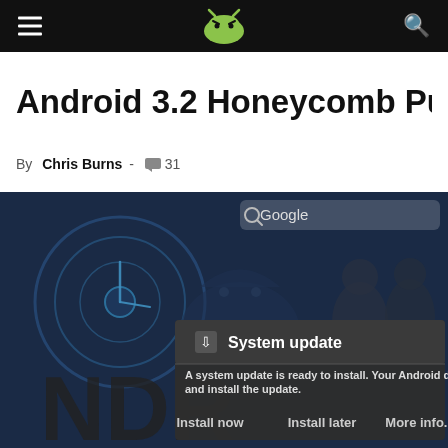AndroidAndOS navigation bar with logo and search
Android 3.2 Honeycomb Pushing to W
By Chris Burns - 31
[Figure (screenshot): Screenshot of an Android tablet showing a System update dialog box over an Android wallpaper. Dialog reads: 'System update - A system update is ready to install. Your Android device will restart and install the update.' Buttons: Install now, Install later, More info...]